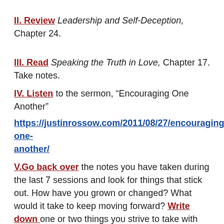II. Review Leadership and Self-Deception, Chapter 24.
III. Read Speaking the Truth in Love, Chapter 17. Take notes.
IV. Listen to the sermon, “Encouraging One Another”
https://justinrossow.com/2011/08/27/encouraging-one-another/
V.Go back over the notes you have taken during the last 7 sessions and look for things that stick out. How have you grown or changed? What would it take to keep moving forward? Write down one or two things you strive to take with you from this triad experience and how you plan to stick with them.